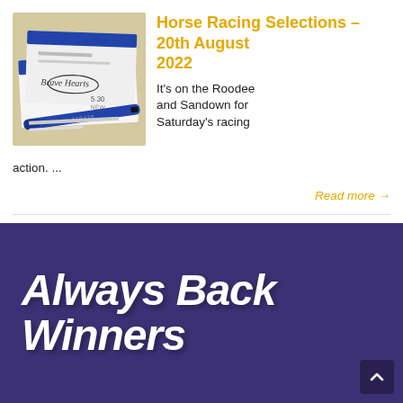[Figure (photo): A photo of horse racing betting slips/tickets with a blue pen on top, on a table surface]
Horse Racing Selections – 20th August 2022
It's on the Roodee and Sandown for Saturday's racing action. ...
Read more →
[Figure (logo): Always Back Winners logo — white bold italic text on dark purple/indigo background]